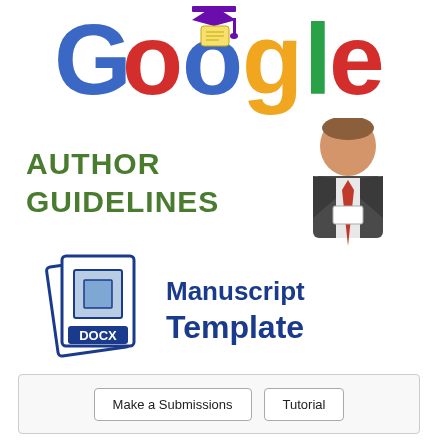[Figure (logo): Google logo styled with graduation cap and diploma, colorful lettering]
[Figure (illustration): Author Guidelines text in bold green with a cartoon businessman figure on the right]
[Figure (illustration): DOCX document icon on the left and 'Manuscript Template' text in bold dark blue on the right]
Make a Submissions   Tutorial